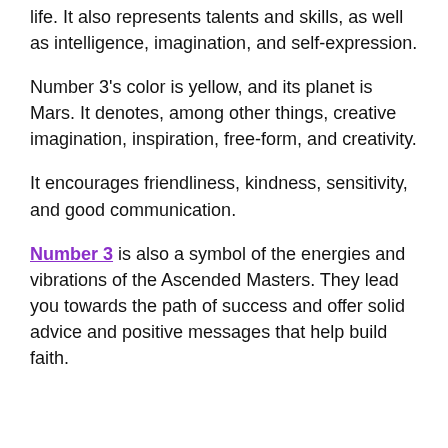life. It also represents talents and skills, as well as intelligence, imagination, and self-expression.
Number 3's color is yellow, and its planet is Mars. It denotes, among other things, creative imagination, inspiration, free-form, and creativity.
It encourages friendliness, kindness, sensitivity, and good communication.
Number 3 is also a symbol of the energies and vibrations of the Ascended Masters. They lead you towards the path of success and offer solid advice and positive messages that help build faith.